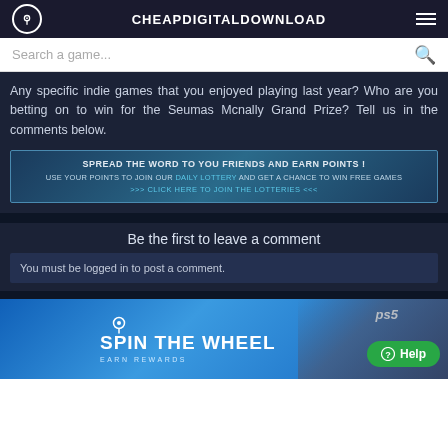CHEAPDIGITALDOWNLOAD
Search a game...
Any specific indie games that you enjoyed playing last year? Who are you betting on to win for the Seumas Mcnally Grand Prize? Tell us in the comments below.
[Figure (infographic): Promotional banner: SPREAD THE WORD TO YOU FRIENDS AND EARN POINTS! USE YOUR POINTS TO JOIN OUR DAILY LOTTERY AND GET A CHANCE TO WIN FREE GAMES. >>> CLICK HERE TO JOIN THE LOTTERIES <<<]
Be the first to leave a comment
You must be logged in to post a comment.
[Figure (infographic): SPIN THE WHEEL EARN REWARDS promotional banner with PS5 image and Help button]